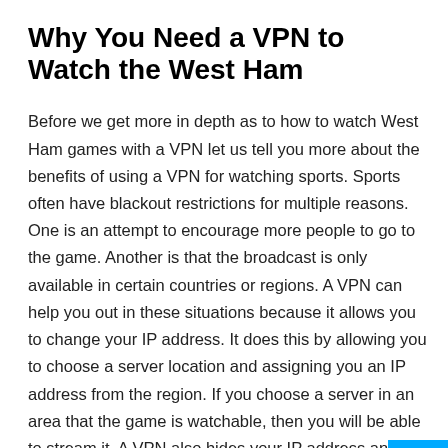Why You Need a VPN to Watch the West Ham
Before we get more in depth as to how to watch West Ham games with a VPN let us tell you more about the benefits of using a VPN for watching sports. Sports often have blackout restrictions for multiple reasons. One is an attempt to encourage more people to go to the game. Another is that the broadcast is only available in certain countries or regions. A VPN can help you out in these situations because it allows you to change your IP address. It does this by allowing you to choose a server location and assigning you an IP address from the region. If you choose a server in an area that the game is watchable, then you will be able to stream it. A VPN also hides your IP address and helps protect your privacy.